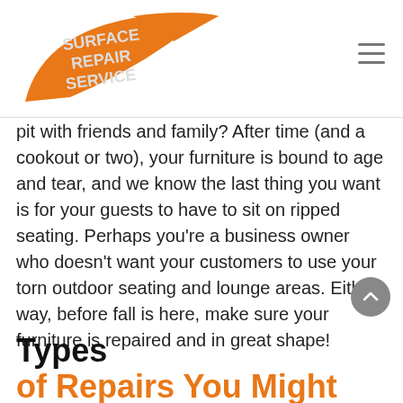Surface Repair Service
pit with friends and family? After time (and a cookout or two), your furniture is bound to age and tear, and we know the last thing you want is for your guests to have to sit on ripped seating. Perhaps you're a business owner who doesn't want your customers to use your torn outdoor seating and lounge areas. Either way, before fall is here, make sure your furniture is repaired and in great shape!
Types of Repairs You Might Need: